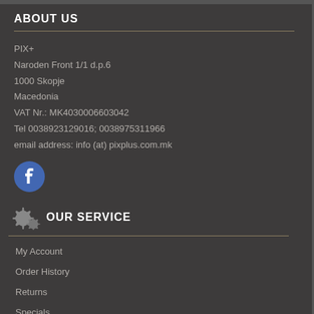ABOUT US
PIX+
Naroden Front 1/1 d.p.6
1000 Skopje
Macedonia
VAT Nr.: MK4030006603042
Tel 0038923129016; 0038975311966
email address: info (at) pixplus.com.mk
[Figure (logo): Facebook icon/logo - circular blue icon with white 'f' letter]
OUR SERVICE
My Account
Order History
Returns
Specials